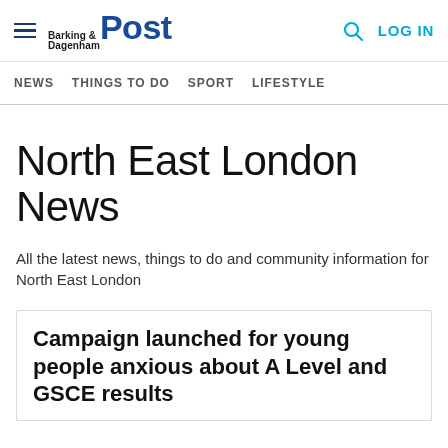Barking & Dagenham Post — Navigation: NEWS | THINGS TO DO | SPORT | LIFESTYLE | Search | LOG IN
North East London News
All the latest news, things to do and community information for North East London
Campaign launched for young people anxious about A Level and GSCE results